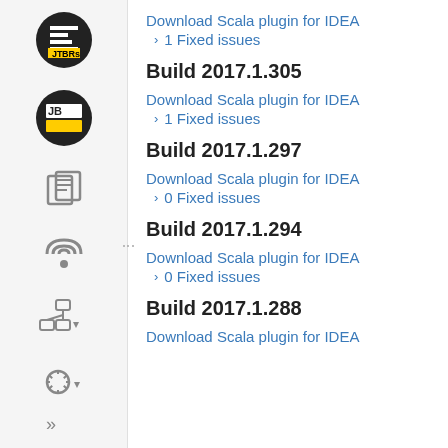[Figure (logo): JetBrains logo icon in black circle]
[Figure (illustration): Document/copy icon]
[Figure (illustration): RSS feed icon]
[Figure (illustration): Hierarchy/tree icon with dropdown]
[Figure (illustration): Settings gear icon with dropdown arrow]
[Figure (illustration): Double chevron / expand icon]
Download Scala plugin for IDEA
1 Fixed issues
Build 2017.1.305
Download Scala plugin for IDEA
1 Fixed issues
Build 2017.1.297
Download Scala plugin for IDEA
0 Fixed issues
Build 2017.1.294
Download Scala plugin for IDEA
0 Fixed issues
Build 2017.1.288
Download Scala plugin for IDEA